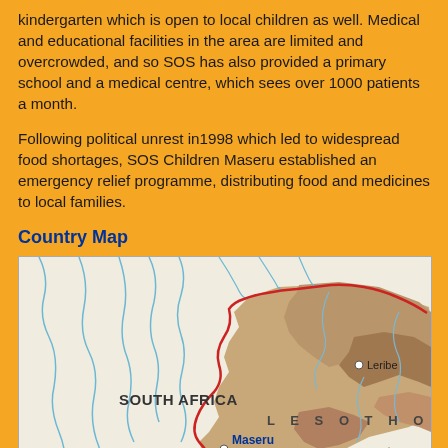kindergarten which is open to local children as well. Medical and educational facilities in the area are limited and overcrowded, and so SOS has also provided a primary school and a medical centre, which sees over 1000 patients a month.
Following political unrest in1998 which led to widespread food shortages, SOS Children Maseru established an emergency relief programme, distributing food and medicines to local families.
Country Map
[Figure (map): Map showing southern Africa including South Africa and Lesotho, with cities Maseru, Leribe, and Bokong marked. Lesotho is shown in brown/tan terrain, South Africa in cream/white. A red boundary line separates South Africa from Lesotho. Blue rivers are visible. An SOS Children's Villages logo icon is shown near Maseru.]